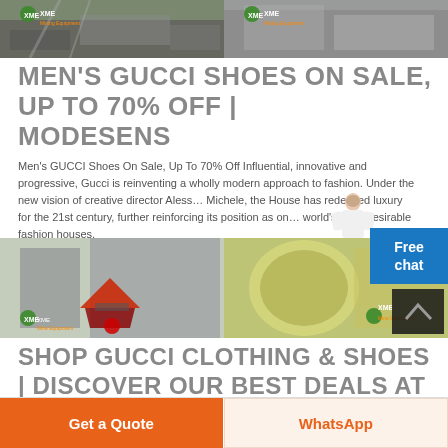[Figure (photo): Two side-by-side industrial mining/crushing equipment site photos with XME logo overlay]
MEN'S GUCCI SHOES ON SALE, UP TO 70% OFF | MODESENS
Men's GUCCI Shoes On Sale, Up To 70% Off Influential, innovative and progressive, Gucci is reinventing a wholly modern approach to fashion. Under the new vision of creative director Alessandro Michele, the House has redefined luxury for the 21st century, further reinforcing its position as one of the world's most desirable fashion houses.
[Figure (photo): Two side-by-side industrial photos: cone crusher in factory on left, large industrial pipes/cylinders on right, with XME logo and back-to-top arrow button]
SHOP GUCCI CLOTHING & SHOES | DISCOVER OUR BEST DEALS AT ...
Get a Quote
WhatsApp